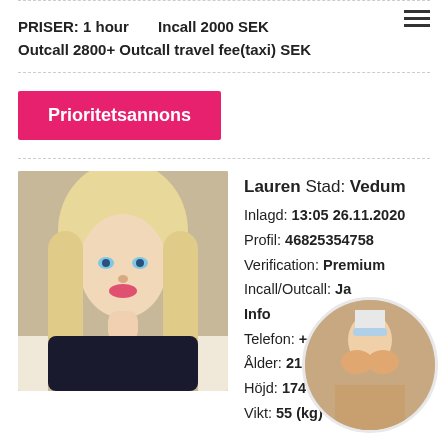PRISER: 1 hour   Incall 2000 SEK
Outcall 2800+ Outcall travel fee(taxi) SEK
Prioritetsannons
[Figure (photo): Photo of young blonde woman with blue eyes]
Lauren Stad: Vedum
Inlagd: 13:05 26.11.2020
Profil: 46825354758
Verification: Premium
Incall/Outcall: Ja
Info
Telefon: +...
Ålder: 21
Höjd: 174 (cm)
Vikt: 55 (kg)
[Figure (photo): Circular overlay image, partially obscuring the listing info]